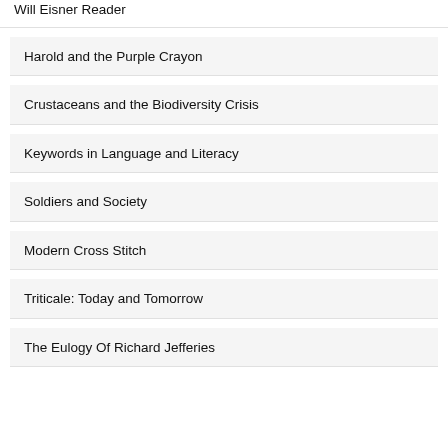Will Eisner Reader
Harold and the Purple Crayon
Crustaceans and the Biodiversity Crisis
Keywords in Language and Literacy
Soldiers and Society
Modern Cross Stitch
Triticale: Today and Tomorrow
The Eulogy Of Richard Jefferies